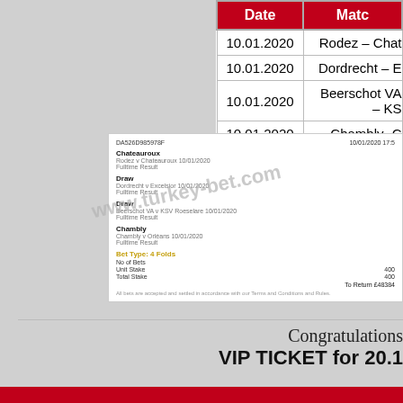| Date | Match |
| --- | --- |
| 10.01.2020 | Rodez – Chat |
| 10.01.2020 | Dordrecht – E |
| 10.01.2020 | Beerschot VA – KS |
| 10.01.2020 | Chambly -C |
[Figure (screenshot): Betting slip screenshot showing 4 folds bet with selections: Chateauroux, Draw, Draw, Chambly. Bet type: 4 Folds. To Return £48384. Watermark: www.turkey-bet.com]
Congratulations
VIP TICKET for 20.1